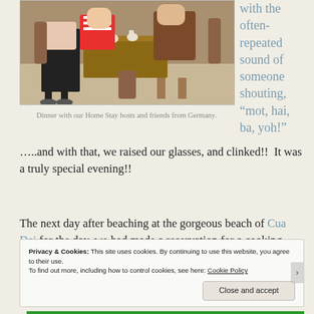[Figure (photo): Photo of people sitting around a table having dinner, with tea cups and dishes on a low wooden table. Some guests in casual clothes.]
Dinner with our Home Stay hosts and friends from Germany.
with the often-repeated sound of someone shouting, “mot, hai, ba, yoh!”
…..and with that, we raised our glasses, and clinked!!  It was a truly special evening!!
The next day after beaching at the gorgeous beach of Cua Dai for the day, we had made a reservation for a cooking school.
Privacy & Cookies: This site uses cookies. By continuing to use this website, you agree to their use.
To find out more, including how to control cookies, see here: Cookie Policy
Close and accept